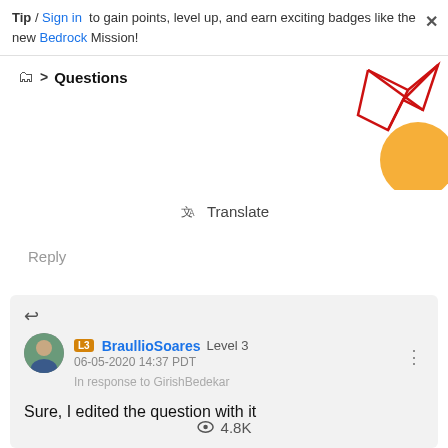Tip / Sign in to gain points, level up, and earn exciting badges like the new Bedrock Mission!
Questions
[Figure (illustration): Decorative geometric illustration with red lines forming a polygon and an orange circle shape in the top-right corner]
Translate
Reply
BraullioSoares Level 3 06-05-2020 14:37 PDT In response to GirishBedekar
Sure, I edited the question with it
4.8K